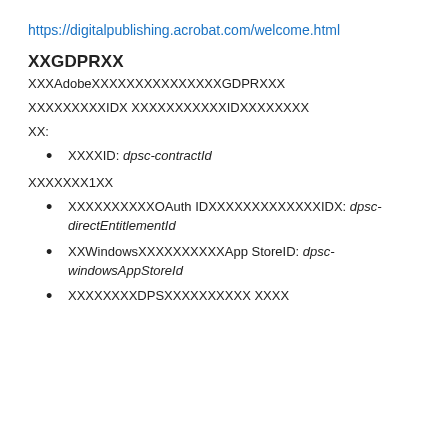https://digitalpublishing.acrobat.com/welcome.html
🔲🔲GDPR🔲🔲
🔲🔲🔲Adobe🔲🔲🔲🔲🔲🔲🔲🔲🔲🔲🔲🔲🔲GDPR🔲🔲🔲
🔲🔲🔲🔲🔲🔲🔲🔲🔲ID🔲 🔲🔲🔲🔲🔲🔲🔲🔲🔲🔲🔲ID🔲🔲🔲🔲🔲🔲🔲🔲
🔲🔲:
🔲🔲🔲🔲ID: dpsc-contractId
🔲🔲🔲🔲🔲🔲🔲1🔲🔲
🔲🔲🔲🔲🔲🔲🔲🔲🔲🔲OAuth ID🔲🔲🔲🔲🔲🔲🔲🔲🔲🔲🔲🔲🔲ID🔲: dpsc-directEntitlementId
🔲🔲Windows🔲🔲🔲🔲🔲🔲🔲🔲🔲🔲App StoreID: dpsc-windowsAppStoreId
🔲🔲🔲🔲🔲🔲🔲🔲DPS🔲🔲🔲🔲🔲🔲🔲🔲🔲🔲 🔲🔲🔲🔲